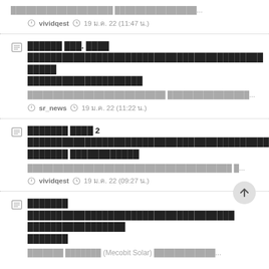…Thai text preview… (11:47 น.)
Thai news title - sr_news article about something
Thai preview text... sr_news 19 ม.ค. 22 (11:22 น.)
Thai news title phase 2 - vividqest article
Thai preview text... vividqest 19 ม.ค. 22 (09:27 น.)
Thai news title - Mecobit Solar article
Thai preview text (Mecobit Solar)...